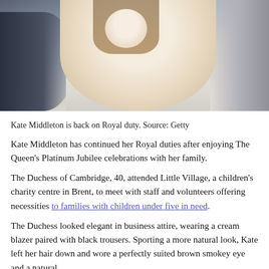[Figure (photo): Kate Middleton smiling in a cream blazer at a public event, with people visible in the background.]
Kate Middleton is back on Royal duty. Source: Getty
Kate Middleton has continued her Royal duties after enjoying The Queen's Platinum Jubilee celebrations with her family.
The Duchess of Cambridge, 40, attended Little Village, a children's charity centre in Brent, to meet with staff and volunteers offering necessities to families with children under five in need.
The Duchess looked elegant in business attire, wearing a cream blazer paired with black trousers. Sporting a more natural look, Kate left her hair down and wore a perfectly suited brown smokey eye and a natural